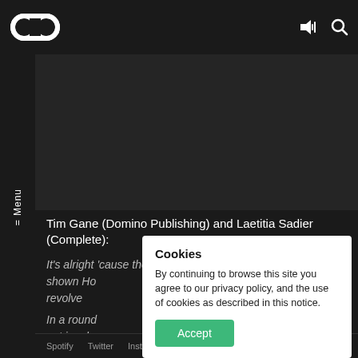[Figure (logo): Infinity loop logo (two interlocked circles) in white on dark background]
[Figure (screenshot): Dark video player area]
= Menu
Tim Gane (Domino Publishing) and Laetitia Sadier (Complete):
It's alright 'cause the historical pattern has shown Ho revolve
In a round out in a lo back to su
Bigger slump and bigger wars And a smaller
Cookies
By continuing to browse this site you agree to our privacy policy, and the use of cookies as described in this notice.
Accept
Spotify  Twitter  Instagram  Client Login